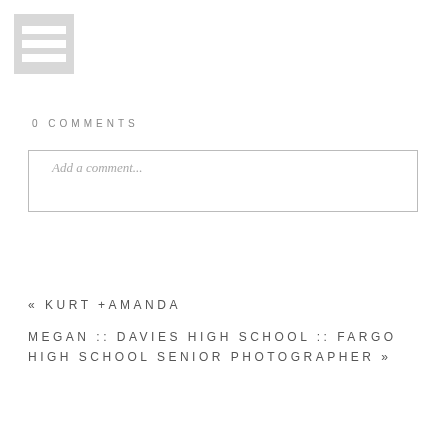[Figure (illustration): Gray hamburger menu icon with three horizontal bars on a light gray square background]
0 COMMENTS
Add a comment...
« KURT +AMANDA
MEGAN :: DAVIES HIGH SCHOOL :: FARGO HIGH SCHOOL SENIOR PHOTOGRAPHER »